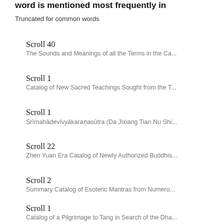word is mentioned most frequently in
Truncated for common words
Scroll 40
The Sounds and Meanings of all the Terms in the Ca...
Scroll 1
Catalog of New Sacred Teachings Sought from the T...
Scroll 1
Śrīmahādevīvyākaraṇasūtra (Da Jixiang Tian Nu Shi...
Scroll 22
Zhen Yuan Era Catalog of Newly Authorized Buddhis...
Scroll 2
Summary Catalog of Esoteric Mantras from Numero...
Scroll 1
Catalog of a Pilgrimage to Tang in Search of the Dha...